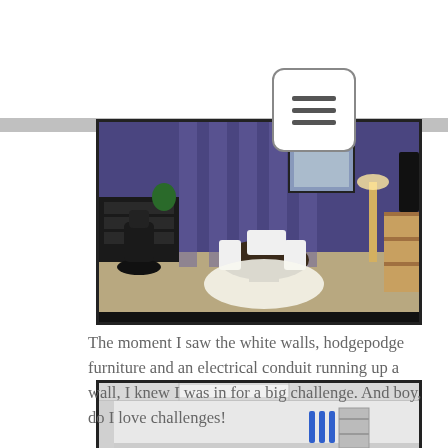[Figure (photo): Interior office/meeting room photo showing purple/blue walls with white stripes, a black office chair, dark dresser, round table with white chairs on a white cowhide rug, plants, and framed art. Word 'think' written on wall.]
The moment I saw the white walls, hodgepodge furniture and an electrical conduit running up a wall, I knew I was in for a big challenge. And boy, do I love challenges!
[Figure (photo): Before photo showing a plain white room with white walls, drop ceiling with fluorescent lighting, and a small bookshelf with blue vertical decorations visible.]